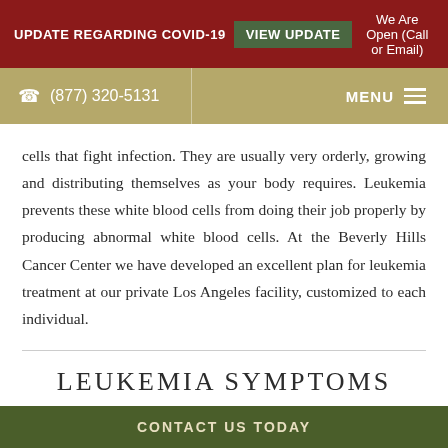UPDATE REGARDING COVID-19  VIEW UPDATE  We Are Open (Call or Email)
(877) 320-5131  MENU
cells that fight infection. They are usually very orderly, growing and distributing themselves as your body requires. Leukemia prevents these white blood cells from doing their job properly by producing abnormal white blood cells. At the Beverly Hills Cancer Center we have developed an excellent plan for leukemia treatment at our private Los Angeles facility, customized to each individual.
LEUKEMIA SYMPTOMS
CONTACT US TODAY